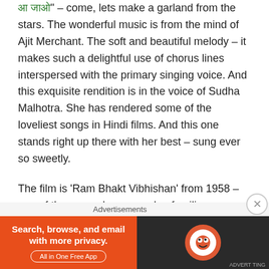आ जाओ" – come, lets make a garland from the stars. The wonderful music is from the mind of Ajit Merchant. The soft and beautiful melody – it makes such a delightful use of chorus lines interspersed with the primary singing voice. And this exquisite rendition is in the voice of Sudha Malhotra. She has rendered some of the loveliest songs in Hindi films. And this one stands right up there with her best – sung ever so sweetly.
The film is 'Ram Bhakt Vibhishan' from 1958 – one of the more obscure and unfamiliar productions, whose claim to fame might well just be the lovely music – like this song. The production banner is Rajni Chitr, Bombay. The film is produced by SJ Rajdev and directed by Samar Chatterji.
Advertisements
[Figure (infographic): DuckDuckGo advertisement banner: orange left section with text 'Search, browse, and email with more privacy. All in One Free App', dark right section with DuckDuckGo logo]